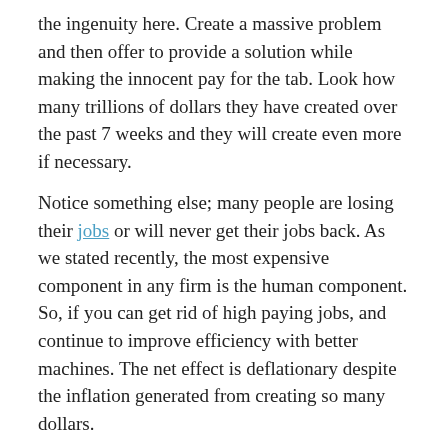the ingenuity here. Create a massive problem and then offer to provide a solution while making the innocent pay for the tab. Look how many trillions of dollars they have created over the past 7 weeks and they will create even more if necessary.
Notice something else; many people are losing their jobs or will never get their jobs back. As we stated recently, the most expensive component in any firm is the human component. So, if you can get rid of high paying jobs, and continue to improve efficiency with better machines. The net effect is deflationary despite the inflation generated from creating so many dollars.
The Future Of Work; It starts with remote working
They are pushing more and more people to work from home. Guess what happens next? If the job is done as well by workers working from home, then why do they need to be at home in the